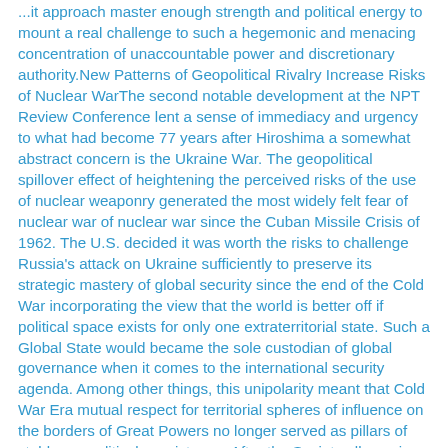...it approach master enough strength and political energy to mount a real challenge to such a hegemonic and menacing concentration of unaccountable power and discretionary authority.New Patterns of Geopolitical Rivalry Increase Risks of Nuclear WarThe second notable development at the NPT Review Conference lent a sense of immediacy and urgency to what had become 77 years after Hiroshima a somewhat abstract concern is the Ukraine War. The geopolitical spillover effect of heightening the perceived risks of the use of nuclear weaponry generated the most widely felt fear of nuclear war of nuclear war since the Cuban Missile Crisis of 1962. The U.S. decided it was worth the risks to challenge Russia's attack on Ukraine sufficiently to preserve its strategic mastery of global security since the end of the Cold War incorporating the view that the world is better off if political space exists for only one extraterritorial state. Such a Global State would became the sole custodian of global governance when it comes to the international security agenda. Among other things, this unipolarity meant that Cold War Era mutual respect for territorial spheres of influence on the borders of Great Powers no longer served as pillars of stable geopolitical coexistence. After the Soviet collapse in 1992 the U.S. has acted as if were entitled and empowered to implement a Monroe Doctrine for the world. To such a geopolitically dominant power without...